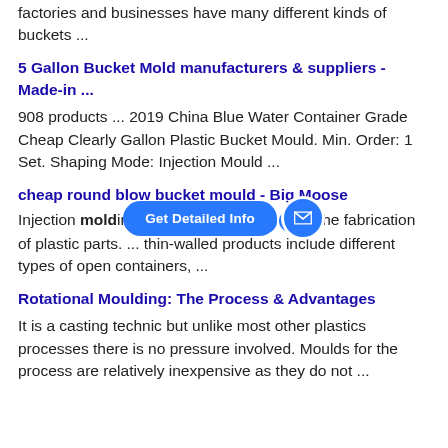factories and businesses have many different kinds of buckets ...
5 Gallon Bucket Mold manufacturers & suppliers - Made-in ...
908 products ... 2019 China Blue Water Container Grade Cheap Clearly Gallon Plastic Bucket Mould. Min. Order: 1 Set. Shaping Mode: Injection Mould ...
cheap round blow bucket mould - Big Moose
Injection molding is ... ro ... r the fabrication of plastic parts. ... thin-walled products include different types of open containers, ...
[Figure (other): Blue 'Get Detailed Info' button pill with a blue circle email icon button overlay]
Rotational Moulding: The Process & Advantages
It is a casting technic but unlike most other plastics processes there is no pressure involved. Moulds for the process are relatively inexpensive as they do not ...